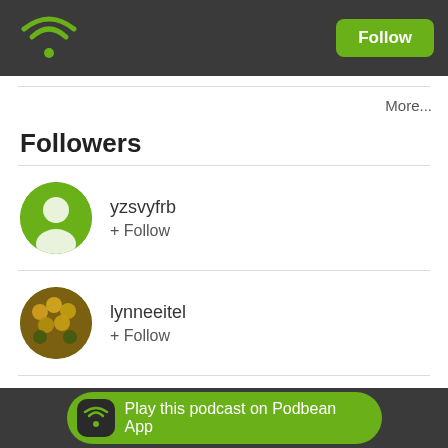Podbean logo header with Follow button
More...
Followers
yzsvyfrb
+ Follow
lynneeitel
+ Follow
Mina
Play this podcast on Podbean App